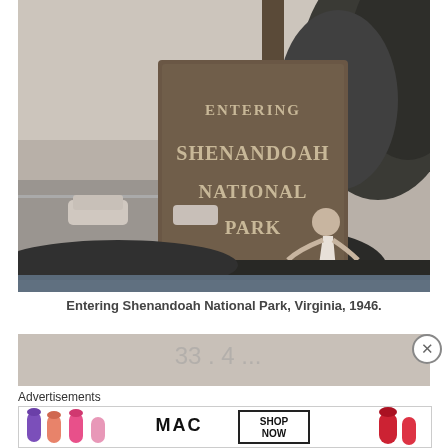[Figure (photo): Black and white photograph of a girl climbing on a wooden signpost reading 'Entering Shenandoah National Park, Skyline Drive'. Cars visible on road in background with trees and foliage.]
Entering Shenandoah National Park, Virginia, 1946.
[Figure (photo): Partial view of another photograph, partially visible behind advertisement overlay.]
Advertisements
[Figure (photo): MAC cosmetics advertisement banner showing colorful lipsticks (purple, pink, coral, red) with MAC logo and 'SHOP NOW' button in a bordered box.]